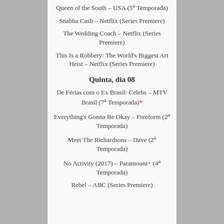Queen of the South – USA (5ª Temporada)
Snabba Cash – Netflix (Series Premiere)
The Wedding Coach – Netflix (Series Premiere)
This Is a Robbery: The World's Biggest Art Heist – Netflix (Series Premiere)
Quinta, dia 08
De Férias com o Ex Brasil: Celebs – MTV Brasil (7ª Temporada)*
Everything's Gonna Be Okay – Freeform (2ª Temporada)
Meet The Richardsons – Dave (2ª Temporada)
No Activity (2017) – Paramount+ (4ª Temporada)
Rebel – ABC (Series Premiere)